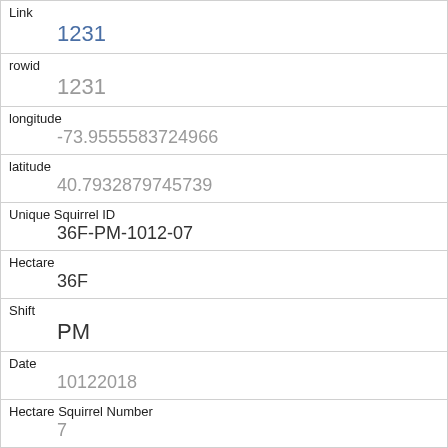| Field | Value |
| --- | --- |
| Link | 1231 |
| rowid | 1231 |
| longitude | -73.9555583724966 |
| latitude | 40.7932879745739 |
| Unique Squirrel ID | 36F-PM-1012-07 |
| Hectare | 36F |
| Shift | PM |
| Date | 10122018 |
| Hectare Squirrel Number | 7 |
| Age | Adult |